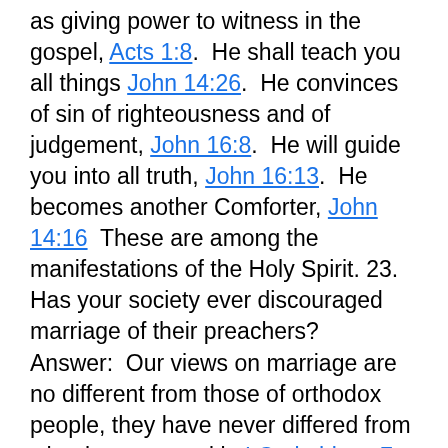as giving power to witness in the gospel, Acts 1:8. He shall teach you all things John 14:26. He convinces of sin of righteousness and of judgement, John 16:8. He will guide you into all truth, John 16:13. He becomes another Comforter, John 14:16 These are among the manifestations of the Holy Spirit. 23. Has your society ever discouraged marriage of their preachers? Answer: Our views on marriage are no different from those of orthodox people, they have never differed from what is expressed in I Corinthians 7, where Paul shows that he sees advantage from the standpoint of the Gospel in his position of an unmarried man. But he clearly states in this chapter that those who marry commit no sin. In another place he (supposedly the writer to the